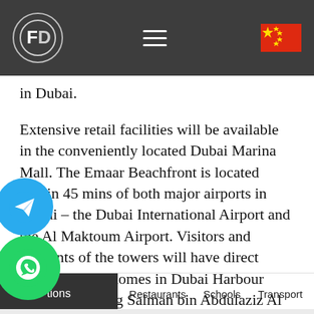FD logo, hamburger menu, Chinese flag
in Dubai.
Extensive retail facilities will be available in the conveniently located Dubai Marina Mall. The Emaar Beachfront is located within 45 mins of both major airports in Dubai – the Dubai International Airport and the Al Maktoum Airport. Visitors and residents of the towers will have direct access to their homes in Dubai Harbour either from King Salman bin Abdulaziz Al Saud street or from the monorail system. This development will be an integral part of the Dubai Harbour which will include retail, entertainment, wellness and leisure amenities which will be in proximity to the residents of Emaar Beachfront.
tions | Restaurants | Schools | Transport